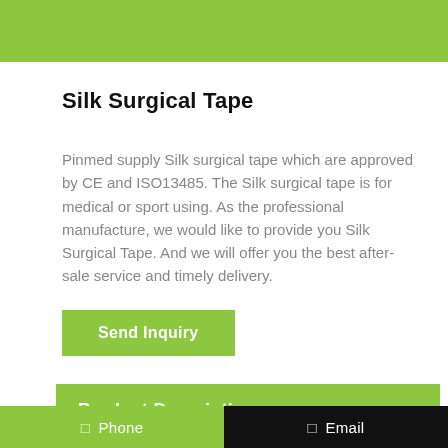Silk Surgical Tape
Pinmed supply Silk surgical tape which are approved by CE and ISO13485. The Silk surgical tape is for medical or sport using. As the professional manufacture, we would like to provide you Silk Surgical Tape. And we will offer you the best after-sale service and timely delivery.
Send Inquiry
Product Description
Phone    Email